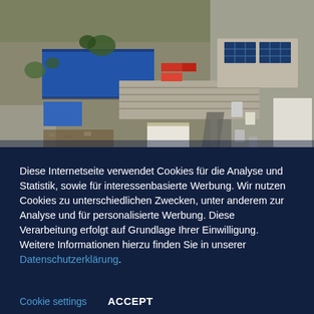[Figure (photo): Aerial drone photograph of an industrial complex showing warehouses with blue and grey roofs, solar panels, vehicles, and surrounding streets.]
Diese Internetseite verwendet Cookies für die Analyse und Statistik, sowie für interessenbasierte Werbung. Wir nutzen Cookies zu unterschiedlichen Zwecken, unter anderem zur Analyse und für personalisierte Werbung. Diese Verarbeitung erfolgt auf Grundlage Ihrer Einwilligung. Weitere Informationen hierzu finden Sie in unserer Datenschutzerklärung.
Cookie settings   ACCEPT